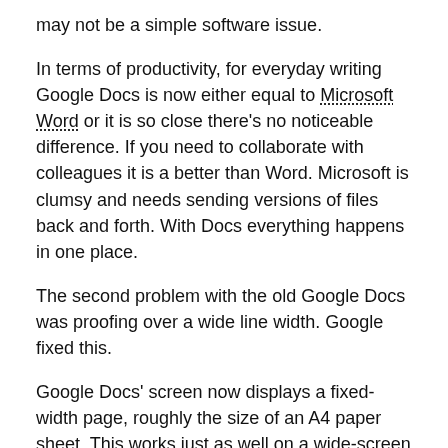may not be a simple software issue.
In terms of productivity, for everyday writing Google Docs is now either equal to Microsoft Word or it is so close there’s no noticeable difference. If you need to collaborate with colleagues it is a better than Word. Microsoft is clumsy and needs sending versions of files back and forth. With Docs everything happens in one place.
The second problem with the old Google Docs was proofing over a wide line width. Google fixed this.
Google Docs’ screen now displays a fixed-width page, roughly the size of an A4 paper sheet. This works just as well on a wide-screen monitor as a narrow display. Wide lines of text are hard to read and even harder to proof-read or edit.
Google Docs offers bette